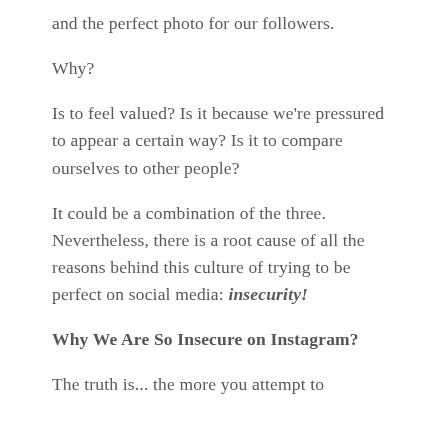and the perfect photo for our followers.
Why?
Is to feel valued? Is it because we're pressured to appear a certain way? Is it to compare ourselves to other people?
It could be a combination of the three. Nevertheless, there is a root cause of all the reasons behind this culture of trying to be perfect on social media: insecurity!
Why We Are So Insecure on Instagram?
The truth is... the more you attempt to